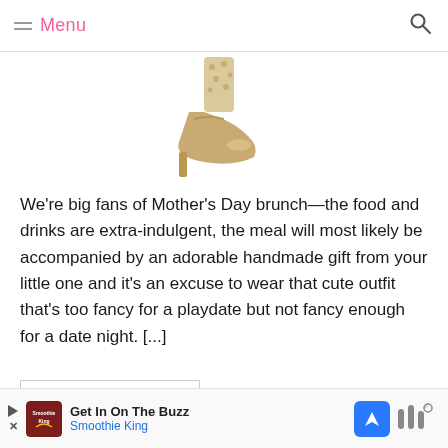Menu
[Figure (photo): Partial view of a decorative high-heel shoe, gold/metallic, cropped showing the foot and heel area]
We're big fans of Mother's Day brunch—the food and drinks are extra-indulgent, the meal will most likely be accompanied by an adorable handmade gift from your little one and it's an excuse to wear that cute outfit that's too fancy for a playdate but not fancy enough for a date night. [...]
Read More...
[Figure (infographic): Advertisement banner: Get In On The Buzz - Smoothie King ad with logo, navigation arrow icon, and Waze-style icons]